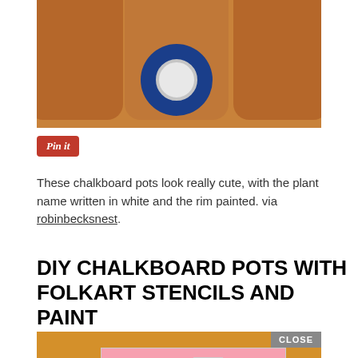[Figure (photo): Terra cotta pots with a roll of blue painter's tape on a table surface]
[Figure (other): Pinterest 'Pin it' button in red]
These chalkboard pots look really cute, with the plant name written in white and the rim painted. via robinbecksnest.
DIY CHALKBOARD POTS WITH FOLKART STENCILS AND PAINT
[Figure (photo): Bottom photo of chalkboard pots with a Victoria's Secret advertisement overlay showing 'SHOP THE COLLECTION' with a CLOSE button]